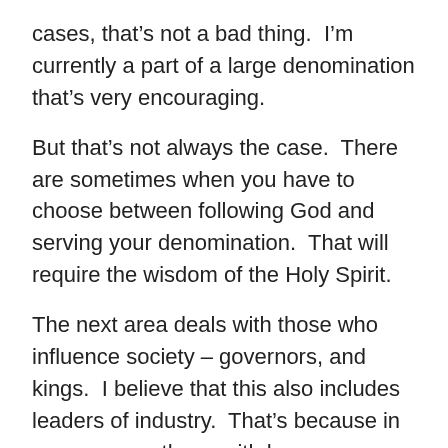cases, that’s not a bad thing.  I’m currently a part of a large denomination that’s very encouraging.
But that’s not always the case.  There are sometimes when you have to choose between following God and serving your denomination.  That will require the wisdom of the Holy Spirit.
The next area deals with those who influence society – governors, and kings.  I believe that this also includes leaders of industry.  That’s because in many cases, those with huge resources have influence over those in government.
We’re told that we’ll be made to stand before them.  This is God’s doing so that we can be a witness to them.  Again, this will require the wisdom of God to be active in us.